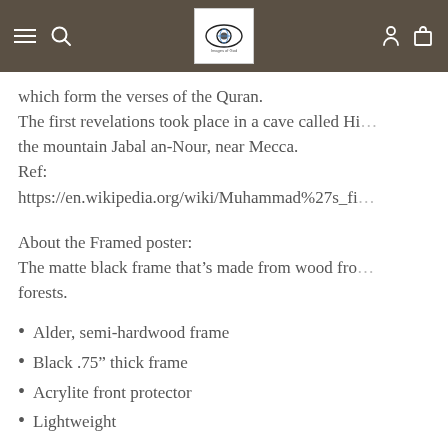Navigation bar with hamburger menu, search, logo, user icon, and cart icon
which form the verses of the Quran.
The first revelations took place in a cave called Hi...
the mountain Jabal an-Nour, near Mecca.
Ref:
https://en.wikipedia.org/wiki/Muhammad%27s_fi...
About the Framed poster:
The matte black frame that's made from wood fro...
forests.
Alder, semi-hardwood frame
Black .75” thick frame
Acrylite front protector
Lightweight